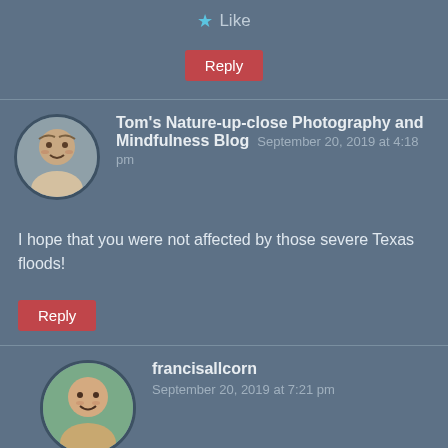★ Like
Reply
Tom's Nature-up-close Photography and Mindfulness Blog  September 20, 2019 at 4:18 pm
I hope that you were not affected by those severe Texas floods!
Reply
francisallcorn
September 20, 2019 at 7:21 pm
No, I am cabin a low lying part of